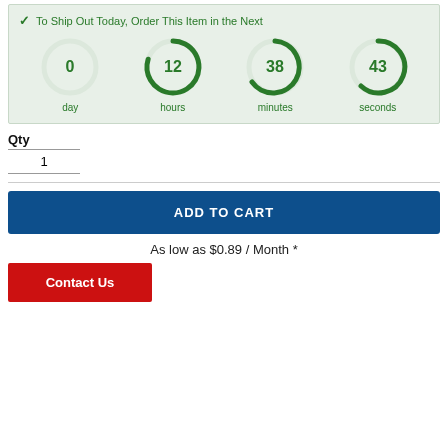[Figure (infographic): Countdown timer showing 0 days, 12 hours, 38 minutes, 43 seconds with circular progress indicators in green]
To Ship Out Today, Order This Item in the Next
Qty
1
ADD TO CART
As low as $0.89 / Month *
Contact Us